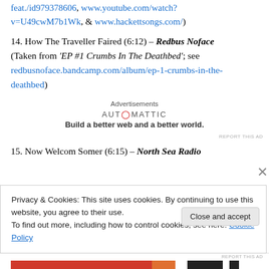feat./id979378606, www.youtube.com/watch?v=U49cwM7b1Wk, & www.hackettsongs.com/)
14. How The Traveller Faired (6:12) – Redbus Noface (Taken from 'EP #1 Crumbs In The Deathbed'; see redbusnoface.bandcamp.com/album/ep-1-crumbs-in-the-deathbed)
Advertisements
AUTOMATTIC
Build a better web and a better world.
15. Now Welcom Somer (6:15) – North Sea Radio
Privacy & Cookies: This site uses cookies. By continuing to use this website, you agree to their use.
To find out more, including how to control cookies, see here: Cookie Policy
Close and accept